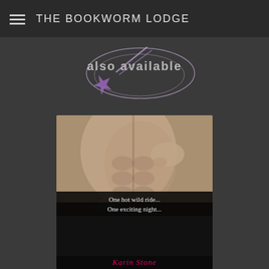THE BOOKWORM LODGE
[Figure (illustration): Decorative 'also available' banner with infinity-style looping lines and a purple shooting star graphic on dark background]
[Figure (illustration): Book cover for 'Lust to the Night' by Karin Stone showing a shirtless male torso with hands, title in pink italic script, taglines 'One hot wild ride... One exciting night...' in white on dark background]